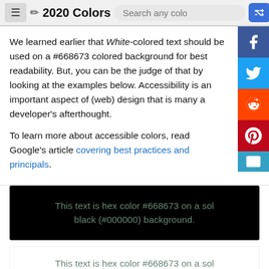2020 Colors — Search any colo [navbar with hamburger, pencil icon, search bar, shuffle button]
We learned earlier that White-colored text should be used on a #668673 colored background for best readability. But, you can be the judge of that by looking at the examples below. Accessibility is an important aspect of (web) design that is many a developer's afterthought.

To learn more about accessible colors, read Google's article covering best practices and principals.
[Figure (screenshot): Black background box with text: This text is hex color #668673 on a solid black (#000000) background. Text is in #668673 color.]
[Figure (screenshot): White background box with text: This text is hex color #668673 on a solid white (#ffffff) background. Text is in #668673 color.]